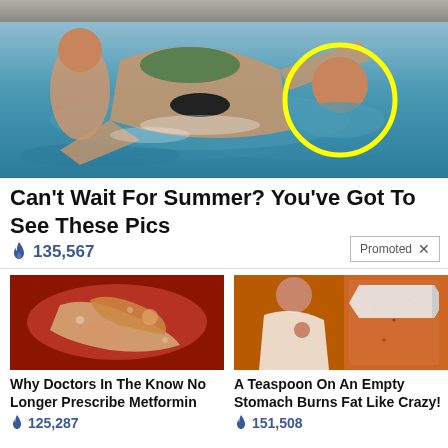[Figure (photo): Pool scene with people playing in water; one person highlighted with yellow circle]
Can't Wait For Summer? You've Got To See These Pics
🔥 135,567
Promoted ×
[Figure (photo): Close-up medical/food image (red and tan colored organic shapes)]
Why Doctors In The Know No Longer Prescribe Metformin
🔥 125,287
[Figure (photo): Person showing midsection with spice/powder visible]
A Teaspoon On An Empty Stomach Burns Fat Like Crazy!
🔥 151,508